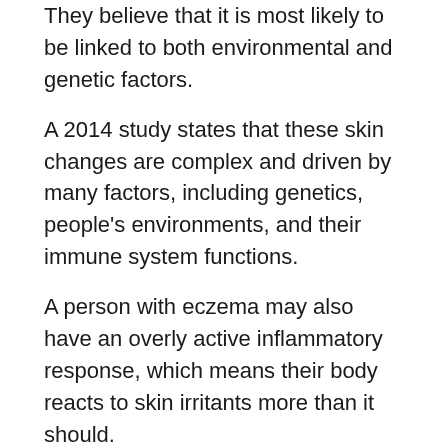They believe that it is most likely to be linked to both environmental and genetic factors.
A 2014 study states that these skin changes are complex and driven by many factors, including genetics, people's environments, and their immune system functions.
A person with eczema may also have an overly active inflammatory response, which means their body reacts to skin irritants more than it should.
This suggestion explains why people with eczema may also have asthma or rhinitis. A 2013 study found that the more severe a child's eczema, the more likely they were to have rhinitis or asthma.
Summary
Doctors may classify eczema as severe when it covers a large area of a person's body, is resistant to